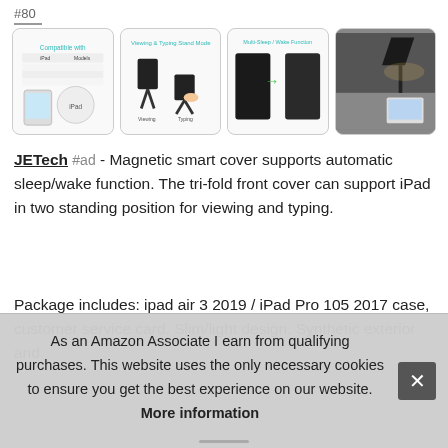#80
[Figure (screenshot): Four product thumbnail images of a JETech iPad case showing compatibility chart, viewing/typing stand modes, sleep/wake function, and lifestyle photo]
JETech #ad - Magnetic smart cover supports automatic sleep/wake function. The tri-fold front cover can support iPad in two standing position for viewing and typing.
Package includes: ipad air 3 2019 / iPad Pro 105 2017 case, customer service card. Slim/light design. Synthetic exterior and [obscured by overlay] iPad [obscured] cut[obscured]
As an Amazon Associate I earn from qualifying purchases. This website uses the only necessary cookies to ensure you get the best experience on our website. More information